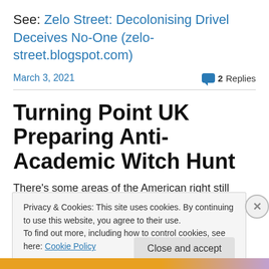See: Zelo Street: Decolonising Drivel Deceives No-One (zelo-street.blogspot.com)
March 3, 2021
2 Replies
Turning Point UK Preparing Anti-Academic Witch Hunt
There's some areas of the American right still pining for
Privacy & Cookies: This site uses cookies. By continuing to use this website, you agree to their use.
To find out more, including how to control cookies, see here: Cookie Policy
Close and accept